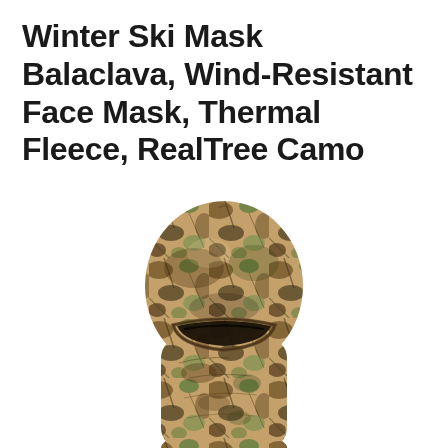Winter Ski Mask Balaclava, Wind-Resistant Face Mask, Thermal Fleece, RealTree Camo
[Figure (photo): Product photo of a RealTree camo balaclava face mask displayed on a mannequin head form, showing the full head coverage with an eye slit opening, in a brown/tan/green camouflage pattern with tree branch designs.]